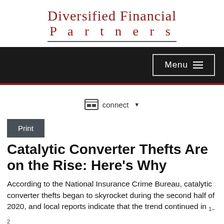Diversified Financial Partners
[Figure (screenshot): Navigation bar with dark background and Menu button with hamburger icon]
connect ▾
Print
Catalytic Converter Thefts Are on the Rise: Here's Why
According to the National Insurance Crime Bureau, catalytic converter thefts began to skyrocket during the second half of 2020, and local reports indicate that the trend continued in 1–2